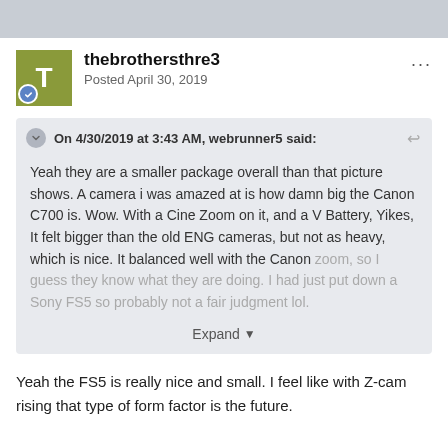thebrothersthre3
Posted April 30, 2019
On 4/30/2019 at 3:43 AM, webrunner5 said:
Yeah they are a smaller package overall than that picture shows. A camera i was amazed at is how damn big the Canon C700 is. Wow. With a Cine Zoom on it, and a V Battery, Yikes, It felt bigger than the old ENG cameras, but not as heavy, which is nice. It balanced well with the Canon zoom, so I guess they know what they are doing. I had just put down a Sony FS5 so probably not a fair judgment lol.
Expand
Yeah the FS5 is really nice and small. I feel like with Z-cam rising that type of form factor is the future.